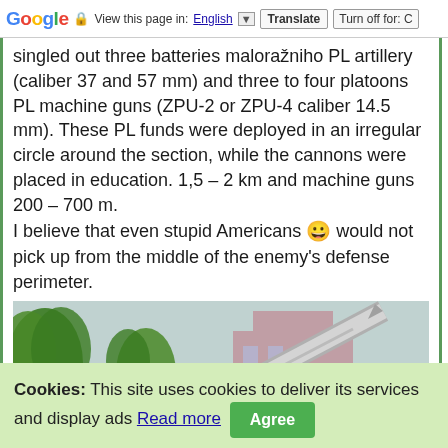Google — View this page in: English [▼] | Translate | Turn off for: C
singled out three batteries maloražniho PL artillery (caliber 37 and 57 mm) and three to four platoons PL machine guns (ZPU-2 or ZPU-4 caliber 14.5 mm). These PL funds were deployed in an irregular circle around the section, while the cannons were placed in education. 1,5 – 2 km and machine guns 200 – 700 m.
I believe that even stupid Americans 😀 would not pick up from the middle of the enemy's defense perimeter.
[Figure (photo): Outdoor display of a surface-to-air missile on a launcher, angled upward, with palm trees and a building visible in the background.]
Cookies: This site uses cookies to deliver its services and display ads Read more [Agree]